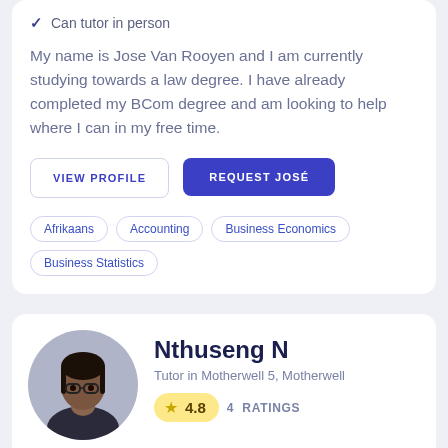Can tutor in person
My name is Jose Van Rooyen and I am currently studying towards a law degree. I have already completed my BCom degree and am looking to help where I can in my free time.
VIEW PROFILE
REQUEST JOSÉ
Afrikaans
Accounting
Business Economics
Business Statistics
Nthuseng N
Tutor in Motherwell 5, Motherwell
4.8  4 RATINGS